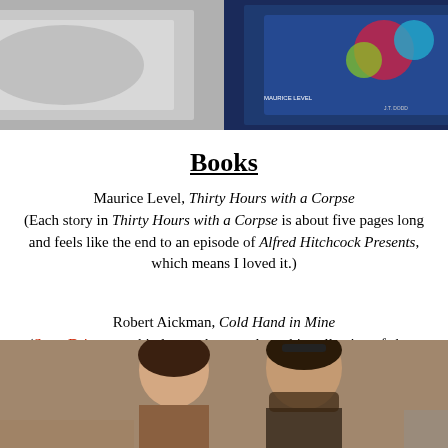[Figure (photo): Top portion of a photo showing two book covers on a wooden surface - one black and white, one colorful]
Books
Maurice Level, Thirty Hours with a Corpse (Each story in Thirty Hours with a Corpse is about five pages long and feels like the end to an episode of Alfred Hitchcock Presents, which means I loved it.)
Robert Aickman, Cold Hand in Mine (Scott Driver was kind enough to send me this collection of short fiction by Aickman, the master of understated terror. Bonus content: here's an audio recording of Aickman's "The Same Dog.")
[Figure (photo): Bottom portion showing two people, a woman and a man with beard, in what appears to be an indoor setting]